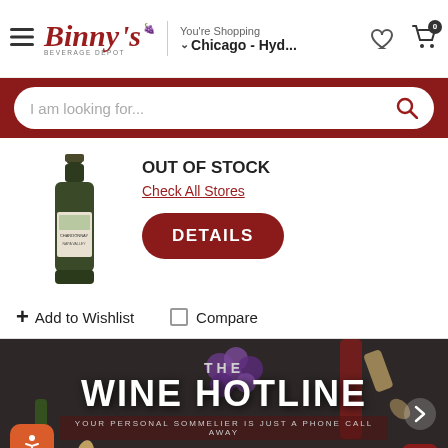Binny's Beverage Depot — You're Shopping Chicago - Hyd...
I am looking for...
OUT OF STOCK
Check All Stores
DETAILS
+ Add to Wishlist
Compare
[Figure (photo): Wine hotline promotional banner with grapes, corks and wine bottles background. Text: THE WINE HOTLINE — YOUR PERSONAL SOMMELIER IS JUST A PHONE CALL AWAY. LEARN MORE! button visible.]